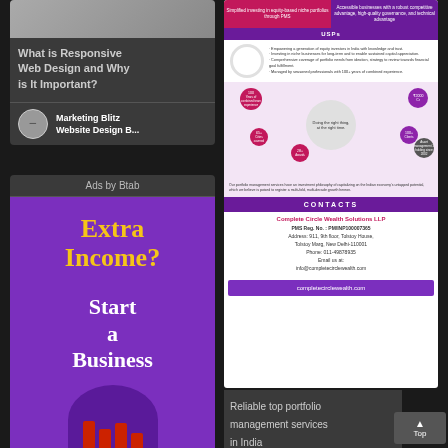[Figure (screenshot): Blog card with title 'What is Responsive Web Design and Why is It Important?' and author Marketing Blitz / Website Design B...]
What is Responsive Web Design and Why is It Important?
Marketing Blitz
Website Design B...
Ads by Btab
[Figure (infographic): Purple advertisement: 'Extra Income? Start a Business']
[Figure (infographic): Top Portfolio Management Services infographic with USPs, circles chart, contacts for Complete Circle Wealth Solutions LLP]
CONTACTS
Complete Circle Wealth Solutions LLP
PMS Reg. No. : PM/INP100007365
Address: 911, 9th floor, Tolstoy House, Tolstoy Marg, New Delhi-110001
Phone: 011-49878935
Email us at: info@completecirclewealth.com
completecirclewealth.com
Reliable top portfolio management services in India